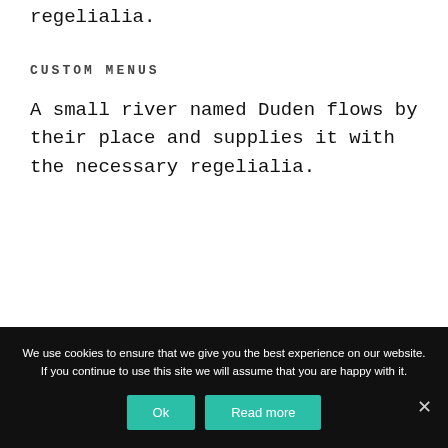regelialia.
CUSTOM MENUS
A small river named Duden flows by their place and supplies it with the necessary regelialia.
We use cookies to ensure that we give you the best experience on our website. If you continue to use this site we will assume that you are happy with it.